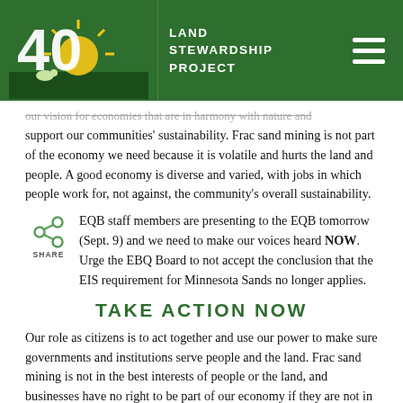Land Stewardship Project
our vision for economies that are in harmony with nature and support our communities' sustainability. Frac sand mining is not part of the economy we need because it is volatile and hurts the land and people. A good economy is diverse and varied, with jobs in which people work for, not against, the community's overall sustainability.
EQB staff members are presenting to the EQB tomorrow (Sept. 9) and we need to make our voices heard NOW. Urge the EBQ Board to not accept the conclusion that the EIS requirement for Minnesota Sands no longer applies.
TAKE ACTION NOW
Our role as citizens is to act together and use our power to make sure governments and institutions serve people and the land. Frac sand mining is not in the best interests of people or the land, and businesses have no right to be part of our economy if they are not in harmony with the needs of our communities and natural world